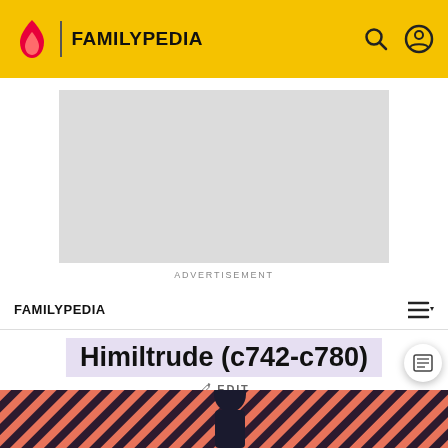FAMILYPEDIA
[Figure (other): Advertisement placeholder - grey rectangle]
ADVERTISEMENT
FAMILYPEDIA
Himiltrude (c742-c780)
✏ EDIT
[Figure (photo): Person against orange and dark diagonal striped background]